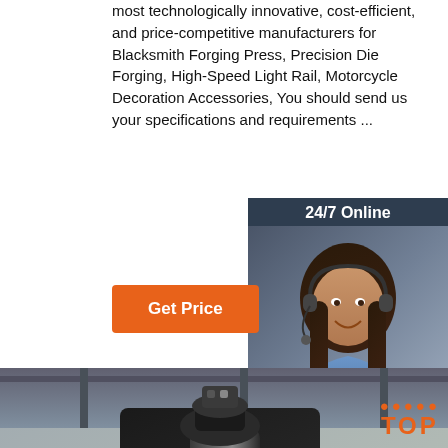most technologically innovative, cost-efficient, and price-competitive manufacturers for Blacksmith Forging Press, Precision Die Forging, High-Speed Light Rail, Motorcycle Decoration Accessories, You should send us your specifications and requirements ...
[Figure (other): 24/7 Online chat widget with a customer service representative wearing a headset, with 'Click here for free chat!' text and an orange QUOTATION button, on a dark blue-gray background]
Get Price
[Figure (photo): Industrial blacksmith forging press machine inside a factory/workshop, black heavy machinery with cylindrical components, industrial setting with other equipment in background]
[Figure (logo): TOP badge with orange dots arranged in an arc above orange bold text reading TOP]